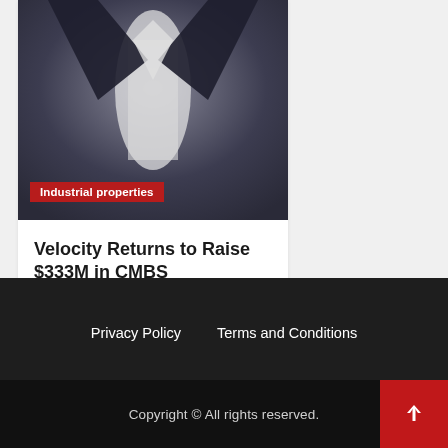[Figure (photo): Blurred photo of a person in a dark suit with white shirt, showing torso area]
Industrial properties
Velocity Returns to Raise $333M in CMBS
2 days ago  Mario M. Salmon
Privacy Policy   Terms and Conditions
Copyright © All rights reserved.